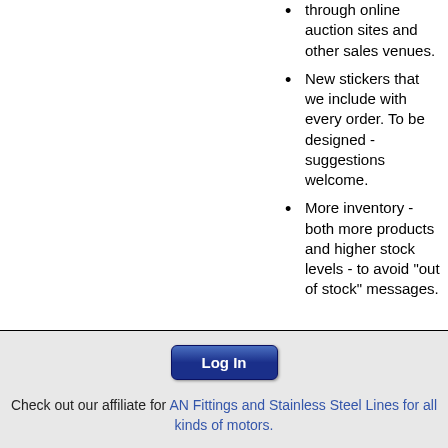through online auction sites and other sales venues.
New stickers that we include with every order. To be designed - suggestions welcome.
More inventory - both more products and higher stock levels - to avoid "out of stock" messages.
Log In
Check out our affiliate for AN Fittings and Stainless Steel Lines for all kinds of motors.